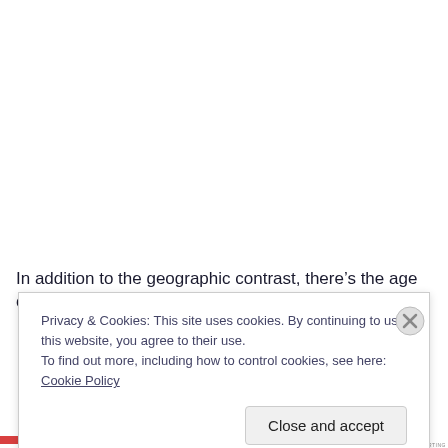In addition to the geographic contrast, there's the age one:
Privacy & Cookies: This site uses cookies. By continuing to use this website, you agree to their use.
To find out more, including how to control cookies, see here: Cookie Policy
Close and accept